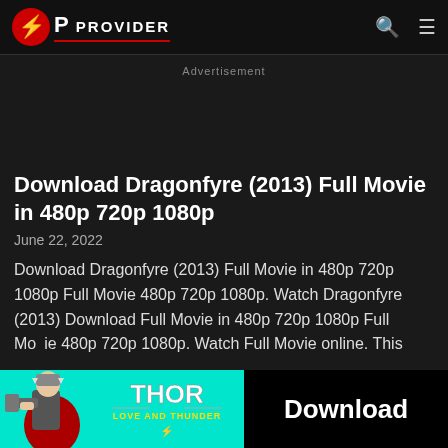OP PROVIDER
Advertisement
Download Dragonfyre (2013) Full Movie in 480p 720p 1080p
June 22, 2022
Download Dragonfyre (2013) Full Movie in 480p 720p 1080p Full Movie 480p 720p 1080p. Watch Dragonfyre (2013) Download Full Movie in 480p 720p 1080p Full Movie 480p 720p 1080p. Watch Full Movie online. This
[Figure (illustration): Advertisement banner featuring Thor Love and Thunder movie with Thor character and Download button on teal background]